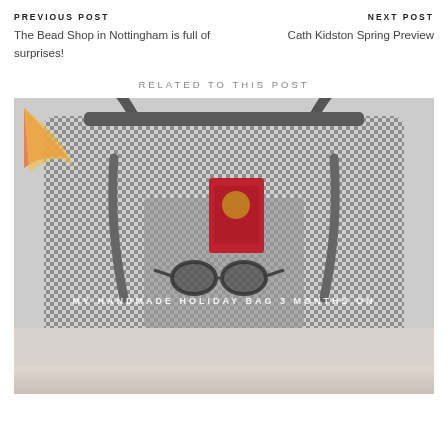PREVIOUS POST
The Bead Shop in Nottingham is full of surprises!
NEXT POST
Cath Kidston Spring Preview
RELATED TO THIS POST
[Figure (photo): A gingham check tote bag with leather handles, containing a red passport and sunglasses. Text overlay reads: MY HANDMADE HOLIDAY BAG 3 MONTHS ON]
[Figure (photo): Partial view of another photo at the bottom of the page]